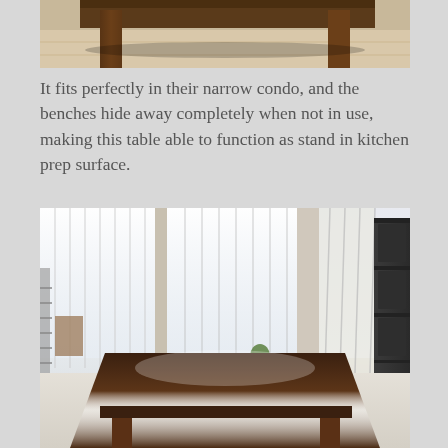[Figure (photo): Top portion of a wooden table with legs visible on a light wooden floor, cropped at top of page]
It fits perfectly in their narrow condo, and the benches hide away completely when not in use, making this table able to function as stand in kitchen prep surface.
[Figure (photo): A wooden dining table with dark stained top shown in a bright condo room with large windows covered by vertical blinds, a dark cabinet on the right, and a small plant visible in the background]